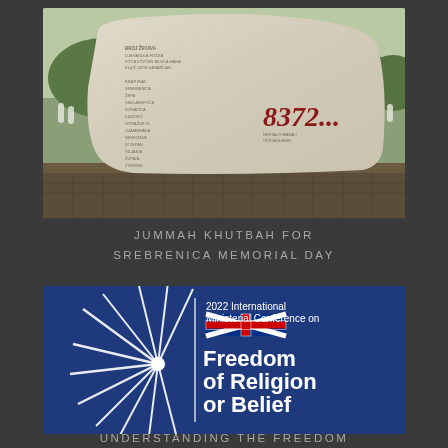[Figure (photo): Photo of the Srebrenica Memorial stone monument with the number 8372 inscribed in red, surrounded by green grass and trees. The stone has names inscribed and lists the number of victims.]
JUMMAH KHUTBAH FOR SREBRENICA MEMORIAL DAY
[Figure (logo): 2022 International Ministerial Conference on Freedom of Religion or Belief logo on dark blue background. Features a white sunburst/starburst design on the left with a Union Jack flag motif, and text on the right reading '2022 International Ministerial Conference on Freedom of Religion or Belief'.]
UNDERSTANDING THE FREEDOM